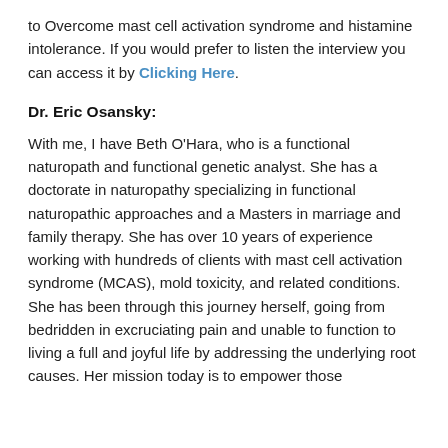to Overcome mast cell activation syndrome and histamine intolerance. If you would prefer to listen the interview you can access it by Clicking Here.
Dr. Eric Osansky:
With me, I have Beth O'Hara, who is a functional naturopath and functional genetic analyst. She has a doctorate in naturopathy specializing in functional naturopathic approaches and a Masters in marriage and family therapy. She has over 10 years of experience working with hundreds of clients with mast cell activation syndrome (MCAS), mold toxicity, and related conditions. She has been through this journey herself, going from bedridden in excruciating pain and unable to function to living a full and joyful life by addressing the underlying root causes. Her mission today is to empower those